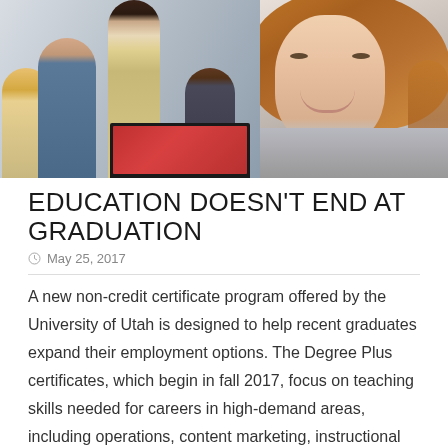[Figure (photo): A group of young professionals or students in a bright office or classroom setting. On the left, several people are gathered around a laptop, with a woman standing and presenting. On the right, a young woman with long auburn hair looks directly at the camera and smiles.]
EDUCATION DOESN'T END AT GRADUATION
May 25, 2017
A new non-credit certificate program offered by the University of Utah is designed to help recent graduates expand their employment options. The Degree Plus certificates, which begin in fall 2017, focus on teaching skills needed for careers in high-demand areas, including operations, content marketing, instructional design, data analysis and digital